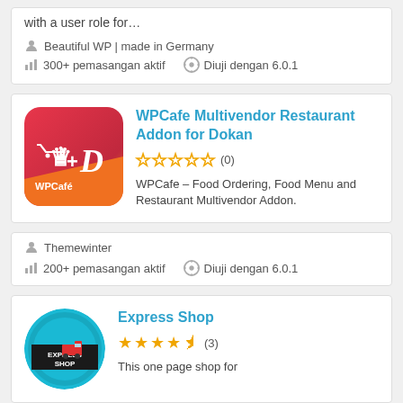with a user role for…
Beautiful WP | made in Germany
300+ pemasangan aktif   Diuji dengan 6.0.1
WPCafe Multivendor Restaurant Addon for Dokan
(0) — 0 stars
WPCafe – Food Ordering, Food Menu and Restaurant Multivendor Addon.
Themewinter
200+ pemasangan aktif   Diuji dengan 6.0.1
Express Shop
(3) — 4.5 stars
This one page shop for